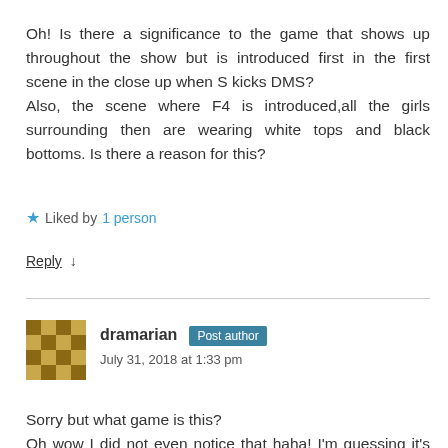Oh! Is there a significance to the game that shows up throughout the show but is introduced first in the first scene in the close up when S kicks DMS?
Also, the scene where F4 is introduced,all the girls surrounding then are wearing white tops and black bottoms. Is there a reason for this?
★ Liked by 1 person
Reply ↓
dramarian Post author
July 31, 2018 at 1:33 pm
Sorry but what game is this?
Oh wow I did not even notice that haha! I'm guessing it's just